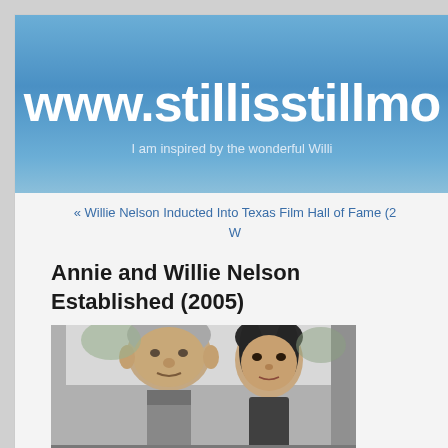www.stillisstillmo
I am inspired by the wonderful Willi
« Willie Nelson Inducted Into Texas Film Hall of Fame (2 W
Annie and Willie Nelson Established (2005)
[Figure (photo): Photo of Annie and Willie Nelson, an older man with gray hair and a woman with dark hair, photographed together outdoors]